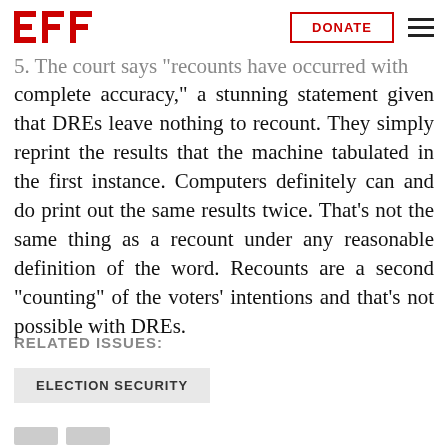EFF | DONATE
5. The court says "recounts have occurred with complete accuracy," a stunning statement given that DREs leave nothing to recount. They simply reprint the results that the machine tabulated in the first instance. Computers definitely can and do print out the same results twice. That's not the same thing as a recount under any reasonable definition of the word. Recounts are a second "counting" of the voters' intentions and that's not possible with DREs.
RELATED ISSUES:
ELECTION SECURITY